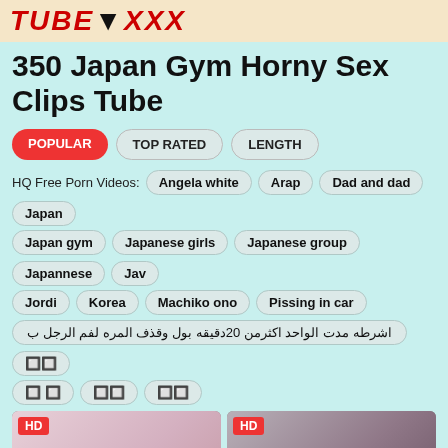TUBEXXX
350 Japan Gym Horny Sex Clips Tube
POPULAR | TOP RATED | LENGTH
HQ Free Porn Videos: Angela white  Arap  Dad and dad  Japan  Japan gym  Japanese girls  Japanese group  Japannese  Jav  Jordi  Korea  Machiko ono  Pissing in car
اشرطه مدت الواحد اكثرمن 20دقيقه بول وقذف المره لفم الرجل ب  🔲  🔲🔲  🔲🔲  🔲🔲
[Figure (photo): Video thumbnail showing woman on bed, HD badge]
[Figure (photo): Video thumbnail showing woman in lingerie, HD badge]